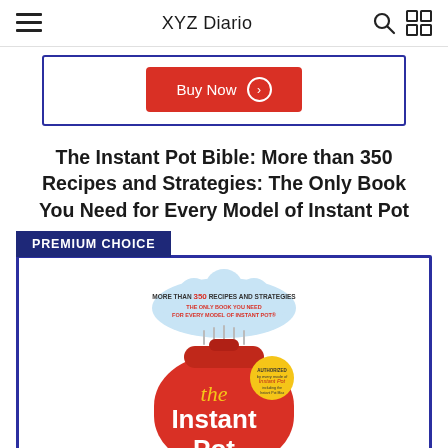XYZ Diario
[Figure (screenshot): Buy Now button (red, with circle arrow icon) inside a blue-bordered card frame]
The Instant Pot Bible: More than 350 Recipes and Strategies: The Only Book You Need for Every Model of Instant Pot
[Figure (photo): Book cover of The Instant Pot Bible showing a red illustrated Instant Pot with the title text and cloud-shaped subtitle banner. PREMIUM CHOICE badge in dark blue above the card.]